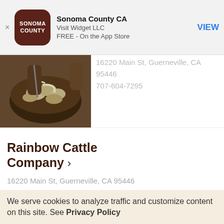[Figure (screenshot): App store banner for Sonoma County CA app by Visit Widget LLC, free on the App Store, with brown app icon showing SONOMA COUNTY text and a VIEW button]
16220 Main St, Guerneville, CA 95446
707-604-7295
[Figure (photo): Photo of food being prepared in a bowl, hands mixing ingredients, overhead shot]
Rainbow Cattle Company >
16220 Main St, Guerneville, CA 95446
707-869-0206
Pamper Me Boutique >
We serve cookies to analyze traffic and customize content on this site. See Privacy Policy